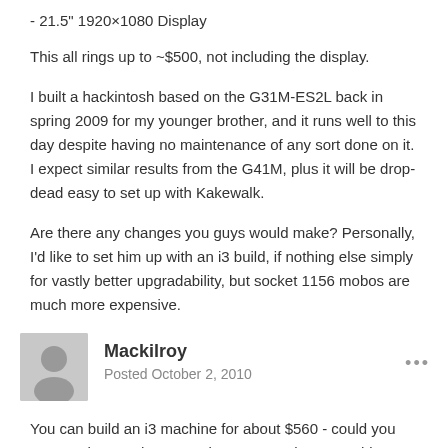- 21.5" 1920×1080 Display
This all rings up to ~$500, not including the display.
I built a hackintosh based on the G31M-ES2L back in spring 2009 for my younger brother, and it runs well to this day despite having no maintenance of any sort done on it. I expect similar results from the G41M, plus it will be drop-dead easy to set up with Kakewalk.
Are there any changes you guys would make? Personally, I'd like to set him up with an i3 build, if nothing else simply for vastly better upgradability, but socket 1156 mobos are much more expensive.
Mackilroy
Posted October 2, 2010
You can build an i3 machine for about $560 - could you step up that much more? I just put together a machine with a Core...